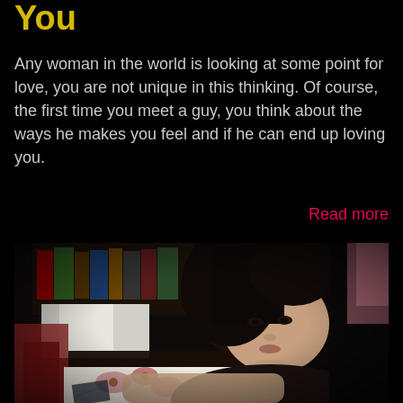You
Any woman in the world is looking at some point for love, you are not unique in this thinking. Of course, the first time you meet a guy, you think about the ways he makes you feel and if he can end up loving you.
Read more
[Figure (photo): Young Asian woman with dark hair resting her chin on her arms on a desk, looking thoughtfully at the camera. Dark background with bookshelves and colorful book spines visible behind her. She is wearing dark clothing and resting on a floral-patterned fabric.]